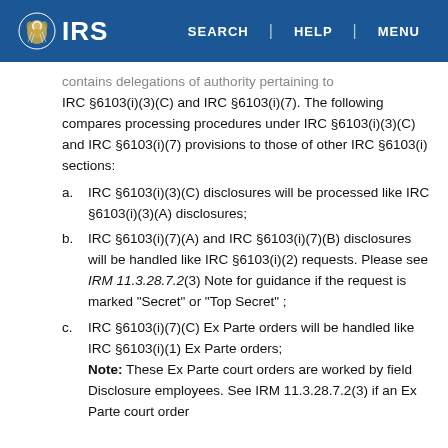IRS | SEARCH | HELP | MENU
contains delegations of authority pertaining to IRC §6103(i)(3)(C) and IRC §6103(i)(7). The following compares processing procedures under IRC §6103(i)(3)(C) and IRC §6103(i)(7) provisions to those of other IRC §6103(i) sections:
a. IRC §6103(i)(3)(C) disclosures will be processed like IRC §6103(i)(3)(A) disclosures;
b. IRC §6103(i)(7)(A) and IRC §6103(i)(7)(B) disclosures will be handled like IRC §6103(i)(2) requests. Please see IRM 11.3.28.7.2(3) Note for guidance if the request is marked "Secret" or "Top Secret" ;
c. IRC §6103(i)(7)(C) Ex Parte orders will be handled like IRC §6103(i)(1) Ex Parte orders; Note: These Ex Parte court orders are worked by field Disclosure employees. See IRM 11.3.28.7.2(3) if an Ex Parte court order